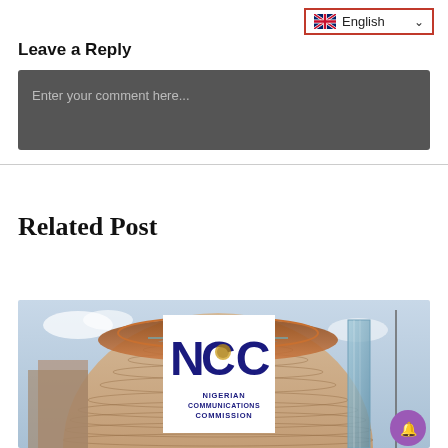Leave a Reply
[Figure (screenshot): Language selector dropdown showing English with UK flag icon and red border]
Enter your comment here...
Related Post
[Figure (photo): NCC (Nigerian Communications Commission) building exterior photo with NCC logo overlay showing circular building with glass roof structure]